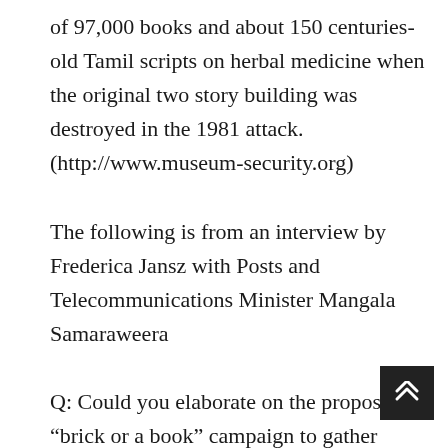of 97,000 books and about 150 centuries-old Tamil scripts on herbal medicine when the original two story building was destroyed in the 1981 attack. (http://www.museum-security.org)
The following is from an interview by Frederica Jansz with Posts and Telecommunications Minister Mangala Samaraweera
Q: Could you elaborate on the proposed “brick or a book” campaign to gather support for the the rebuilding of the Jaffna Library?
A: Eighteen months ago, the President appointed a small task force within the Sudu Nelum